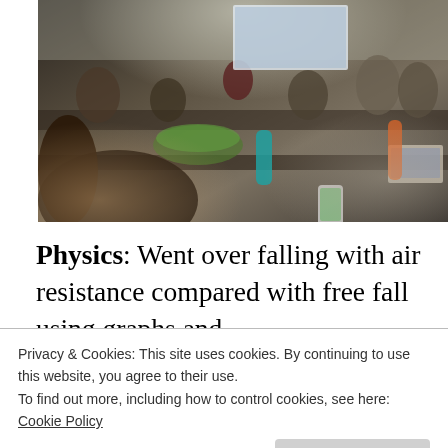[Figure (photo): Classroom scene with students sitting at tables working on laptops and phones, with an instructor at the front near a projected screen. A salad bowl and water bottles are visible on the tables in the foreground.]
Physics: Went over falling with air resistance compared with free fall using graphs and
Privacy & Cookies: This site uses cookies. By continuing to use this website, you agree to their use.
To find out more, including how to control cookies, see here:
Cookie Policy
Close and accept
I'll recreate it on paper and get something I can